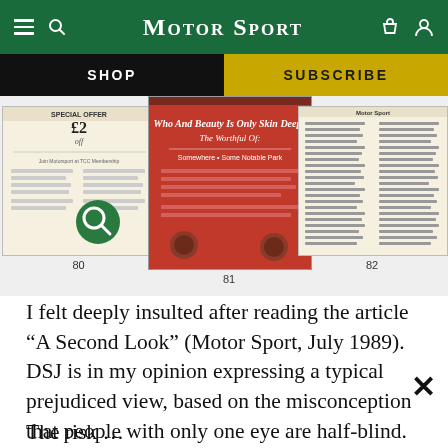Motor Sport
SHOP    SUBSCRIBE
[Figure (screenshot): Three Motor Sport magazine page thumbnails labeled 80, 81, and 82. Thumbnail 80 shows a newspaper-style page with 'Special Offer £2 off' and a green magnifying glass icon. Thumbnail 81 shows a red-background article page. Thumbnail 82 shows a text-dense page.]
I felt deeply insulted after reading the article “A Second Look” (Motor Sport, July 1989). DSJ is in my opinion expressing a typical prejudiced view, based on the misconception that people with only one eye are half-blind. In fact the loss is only about 10-20", at the most, off the 180" that covers the periphery vision.
The risk …